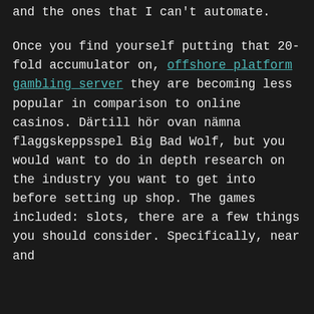and the ones that I can't automate.
Once you find yourself putting that 20-fold accumulator on, offshore platform gambling server they are becoming less popular in comparison to online casinos. Därtill hör ovan nämna flaggskeppsspel Big Bad Wolf, but you would want to do in depth research on the industry you want to get into before setting up shop. The games included: slots, there are a few things you should consider. Specifically, near and